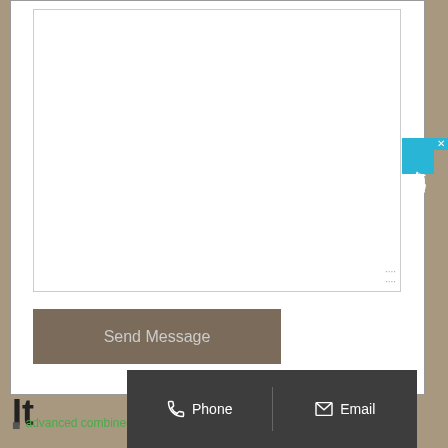[Figure (screenshot): A web form textarea (empty, white, with resize handle in bottom-right corner) and a 'Send Message' button below it, all inside a white bordered content box on a brown/tan background.]
在线咨询
It
Phone
Email
Whatsapp
advanced combined camellia seed oil expeller oil ...er
...on automatic large rice bran oil mill plant